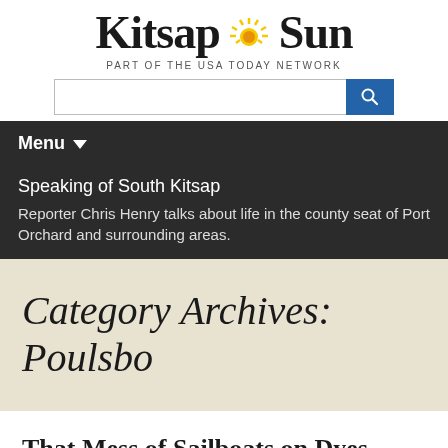[Figure (logo): Kitsap Sun newspaper logo with sun graphic in the middle of the text]
PART OF THE USA TODAY NETWORK
[Figure (screenshot): Search bar with text input and blue search button]
Menu
Speaking of South Kitsap
Reporter Chris Henry talks about life in the county seat of Port Orchard and surrounding areas.
Category Archives: Poulsbo
That Mess of Sailboats on Dyes Inlet? Yeah, They Know What